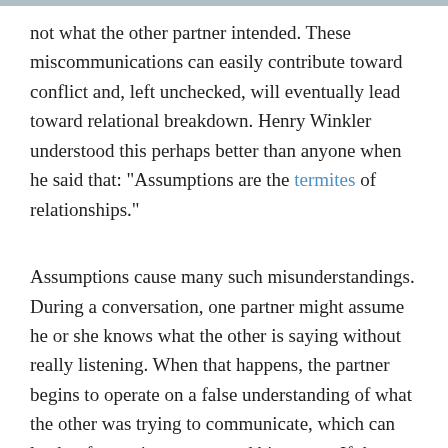not what the other partner intended. These miscommunications can easily contribute toward conflict and, left unchecked, will eventually lead toward relational breakdown. Henry Winkler understood this perhaps better than anyone when he said that: "Assumptions are the termites of relationships."
Assumptions cause many such misunderstandings. During a conversation, one partner might assume he or she knows what the other is saying without really listening. When that happens, the partner begins to operate on a false understanding of what the other was trying to communicate, which can lead to frustration, anger, and bitterness. If the misunderstanding is not corrected, the assumption could poison the relationship.